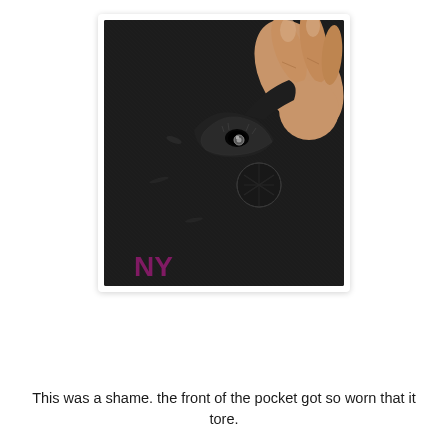[Figure (photo): Close-up photo of a black fabric garment showing a torn pocket area near a snap/button. A hand (fingers visible) is pulling up the torn fabric flap. There is visible wear and a hole in the fabric near a metal snap fastener. A black circular button/patch is visible below the tear. Purple/magenta text letters 'NY' are partially visible at the bottom of the garment.]
This was a shame. the front of the pocket got so worn that it tore.